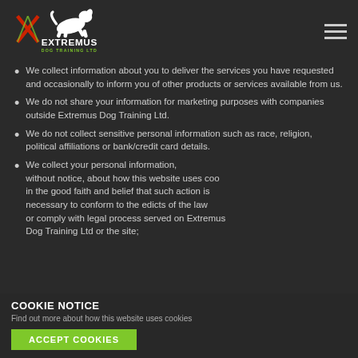[Figure (logo): Extremus Dog Training Ltd logo – white dog jumping over an X shape, with text EXTREMUS DOG TRAINING LTD]
We collect information about you to deliver the services you have requested and occasionally to inform you of other products or services available from us.
We do not share your information for marketing purposes with companies outside Extremus Dog Training Ltd.
We do not collect sensitive personal information such as race, religion, political affiliations or bank/credit card details.
We collect your personal information, without notice, about how this website uses cookies in the good faith and belief that such action is necessary to conform to the edicts of the law or comply with legal process served on Extremus Dog Training Ltd or the site; (b) protect and...
COOKIE NOTICE
Find out more about how this website uses cookies
ACCEPT COOKIES